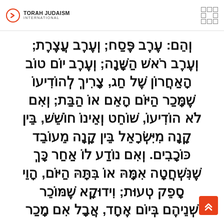TORAH JUDAISM INTERNATIONAL
וְהֵם: עֶרֶב פֶּסַח; וְעֶרֶב עֲצֶרֶת; וְעֶרֶב רֹאשׁ הַשָּׁנָה; וְעֶרֶב יוֹם טוֹב הָאַחֲרוֹן שֶׁל חַג, צָרִיךְ לְהוֹדִיעוֹ שְׁמַכֵּר הַיּוֹם הָאֵם אוֹ הַבַּת; וְאִם לֹא הוֹדִיעוֹ, שׁוֹחֵט וְאֵינוֹ חוֹשֵׁשׁ, בֵּין קָנָה מִיִּשְׂרָאֵל בֵּין קָנָה מֵעוֹבֵד כּוֹכָבִים. וְאִם נוֹדַע לוֹ אַחַר כָּךְ שֶׁנִּשְׁחֲטָה אִמָּהּ אוֹ בִּתָּהּ הַיּוֹם, הָוֵי סָפֵק טְעוּת; וִידוּקָא שֶׁמּוֹכֵר שְׁנֵיהֶם בְּיוֹם אֶחָד, אֲבָל אִם מָכַר